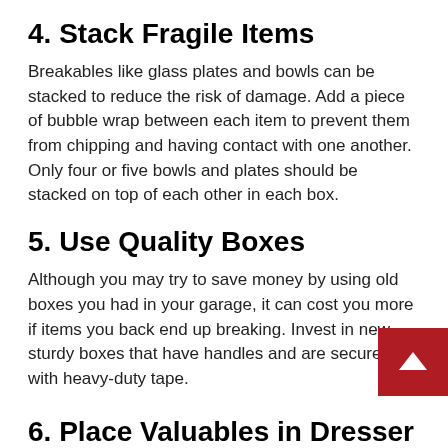4. Stack Fragile Items
Breakables like glass plates and bowls can be stacked to reduce the risk of damage. Add a piece of bubble wrap between each item to prevent them from chipping and having contact with one another. Only four or five bowls and plates should be stacked on top of each other in each box.
5. Use Quality Boxes
Although you may try to save money by using old boxes you had in your garage, it can cost you more if items you back end up breaking. Invest in new, sturdy boxes that have handles and are secured with heavy-duty tape.
6. Place Valuables in Dresser